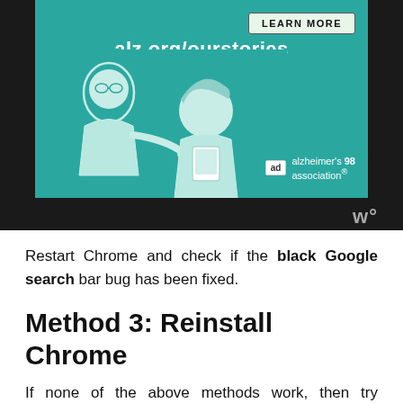[Figure (illustration): Alzheimer's Association advertisement banner with teal background showing two illustrated figures (an older man and a younger woman). Contains 'LEARN MORE' button, URL 'alz.org/ourstories', AdChoices badge, and Alzheimer's Association logo.]
Restart Chrome and check if the black Google search bar bug has been fixed.
Method 3: Reinstall Chrome
If none of the above methods work, then try reinstalling Chrome. By reinstalling Chrome, you will lose all your saved bookmarks and passwords. You can back up the Chrome passwords and bookmarks before reinstalling and avoid this